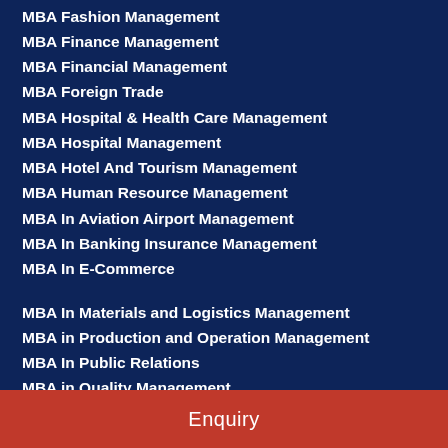MBA Fashion Management
MBA Finance Management
MBA Financial Management
MBA Foreign Trade
MBA Hospital & Health Care Management
MBA Hospital Management
MBA Hotel And Tourism Management
MBA Human Resource Management
MBA In Aviation Airport Management
MBA In Banking Insurance Management
MBA In E-Commerce
MBA In Materials and Logistics Management
MBA in Production and Operation Management
MBA In Public Relations
MBA in Quality Management
MBA Industrial Management
MBA Information Technology
Enquiry